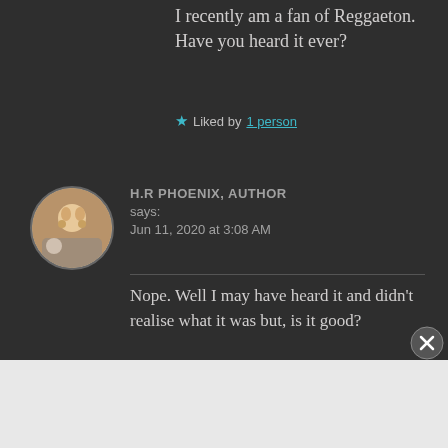I recently am a fan of Reggaeton. Have you heard it ever?
★ Liked by 1 person
H.R PHOENIX, AUTHOR says:
Jun 11, 2020 at 3:08 AM
Nope. Well I may have heard it and didn't realise what it was but, is it good?
[Figure (other): Close/dismiss button (X circle)]
Advertisements
[Figure (other): Advertisement banner: Launch your online course with WordPress. Learn More.]